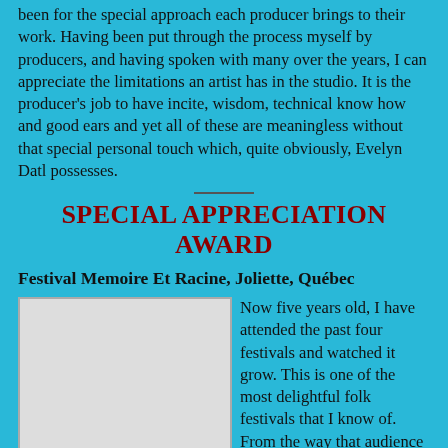been for the special approach each producer brings to their work. Having been put through the process myself by producers, and having spoken with many over the years, I can appreciate the limitations an artist has in the studio. It is the producer's job to have incite, wisdom, technical know how and good ears and yet all of these are meaningless without that special personal touch which, quite obviously, Evelyn Datl possesses.
SPECIAL APPRECIATION AWARD
Festival Memoire Et Racine, Joliette, Québec
[Figure (photo): Festival photo placeholder image]
Now five years old, I have attended the past four festivals and watched it grow. This is one of the most delightful folk festivals that I know of. From the way that audience members are encouraged to interact with the performers, a place where there are no superstars who demand isolation from the masses, this festival is as friendly as they come. All performers are treated with the utmost respect by both the volunteer corps and the audience.